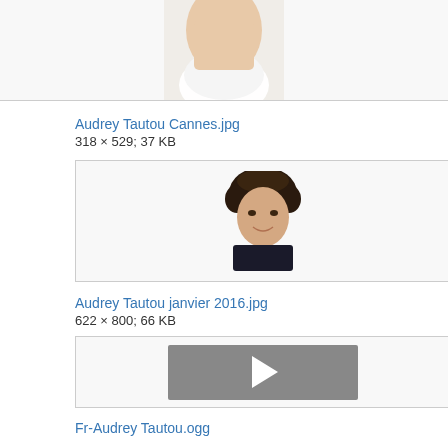[Figure (photo): Partial photo of woman in white dress, cropped at top of page]
Audrey Tautou Cannes.jpg
318 × 529; 37 KB
[Figure (photo): Photo of Audrey Tautou, woman with curly dark hair, smiling, wearing dark top]
Audrey Tautou janvier 2016.jpg
622 × 800; 66 KB
[Figure (other): Video thumbnail with play button for Fr-Audrey Tautou.ogg]
Fr-Audrey Tautou.ogg
1.5 s; 25 KB